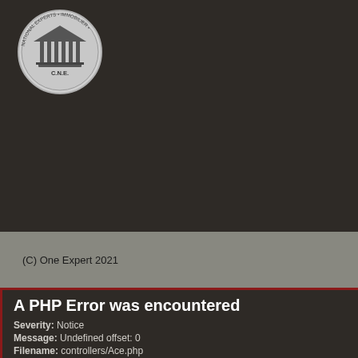[Figure (logo): Circular badge logo with a classical building/pillars icon in the center and text 'C.N.E.' below it, with text around the border reading 'NATIONAL EXPERTS' and 'IMMOBILIER']
(C) One Expert 2021
A PHP Error was encountered
Severity: Notice
Message: Undefined offset: 0
Filename: controllers/Ace.php
Line Number: 258
Backtrace: